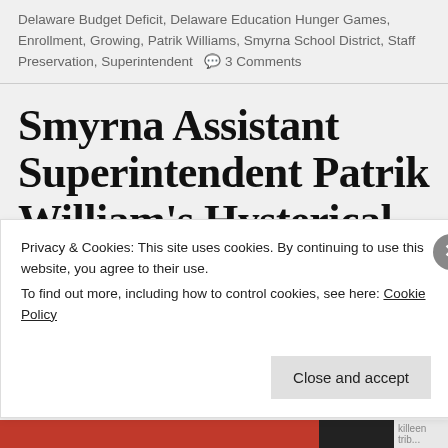Delaware Budget Deficit, Delaware Education Hunger Games, Enrollment, Growing, Patrik Williams, Smyrna School District, Staff Preservation, Superintendent  🗨 3 Comments
Smyrna Assistant Superintendent Patrik William's Hysterical Letter To Delaware
Privacy & Cookies: This site uses cookies. By continuing to use this website, you agree to their use.
To find out more, including how to control cookies, see here: Cookie Policy
Close and accept